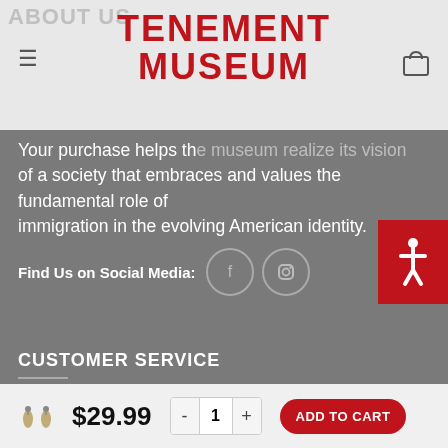TENEMENT MUSEUM
Your purchase helps the museum realize its vision of a society that embraces and values the fundamental role of immigration in the evolving American identity.
Find Us on Social Media:
CUSTOMER SERVICE
Track your order
Shipping
Returns & Exchange
Privacy Policy
$29.99  -  1  +  ADD TO CART